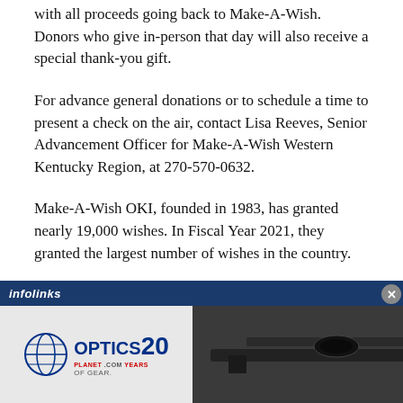with all proceeds going back to Make-A-Wish. Donors who give in-person that day will also receive a special thank-you gift.
For advance general donations or to schedule a time to present a check on the air, contact Lisa Reeves, Senior Advancement Officer for Make-A-Wish Western Kentucky Region, at 270-570-0632.
Make-A-Wish OKI, founded in 1983, has granted nearly 19,000 wishes. In Fiscal Year 2021, they granted the largest number of wishes in the country.
To learn more about how you can donate, volunteer and share the mission, visit oki.wish.org.
[Figure (infographic): Infolinks ad bar followed by a banner advertisement for OpticsPlanet.com featuring a riflescope image, THYBE logo, 'SAVE UP TO 40% OFF INSTANTLY' text, and a red 'Shop Now >' button.]